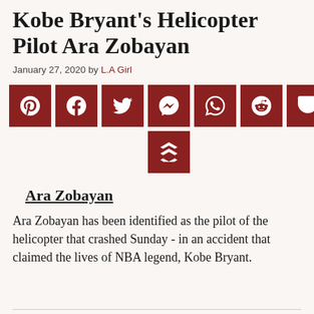Kobe Bryant's Helicopter Pilot Ara Zobayan
January 27, 2020 by L.A Girl
[Figure (other): Row of social sharing icon buttons: Pinterest, Facebook, Twitter, Messenger, WhatsApp, Reddit, Pocket, and a Buffer/layers icon below]
Ara Zobayan
Ara Zobayan has been identified as the pilot of the helicopter that crashed Sunday - in an accident that claimed the lives of NBA legend, Kobe Bryant.